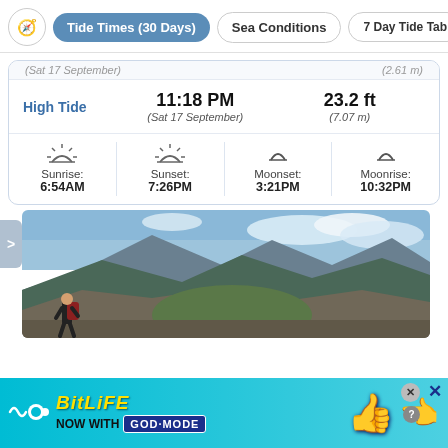Tide Times (30 Days) | Sea Conditions | 7 Day Tide Tab
(Sat 17 September) ... (2.61 m)
|  | Time | Height |
| --- | --- | --- |
| High Tide | 11:18 PM (Sat 17 September) | 23.2 ft (7.07 m) |
| Sunrise | Sunset | Moonset | Moonrise |
| --- | --- | --- | --- |
| 6:54AM | 7:26PM | 3:21PM | 10:32PM |
[Figure (photo): A hiker with a red backpack standing on a rocky overlook with dramatic alpine mountain scenery and clouds in the background.]
BitLife NOW WITH GOD MODE